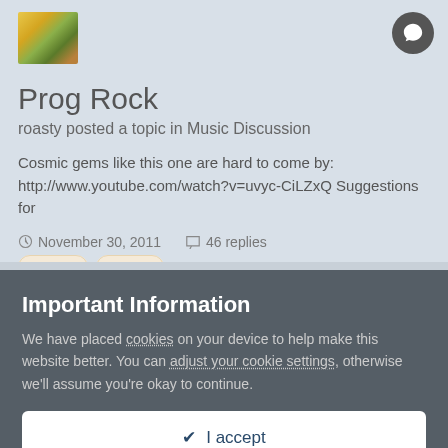[Figure (photo): Small avatar thumbnail showing colorful image with yellow, green, and brown tones]
Prog Rock
roasty posted a topic in Music Discussion
Cosmic gems like this one are hard to come by: http://www.youtube.com/watch?v=uvyc-CiLZxQ Suggestions for
November 30, 2011   46 replies
vintage
cosmic
(and 2 more)
Important Information
We have placed cookies on your device to help make this website better. You can adjust your cookie settings, otherwise we'll assume you're okay to continue.
✔ I accept